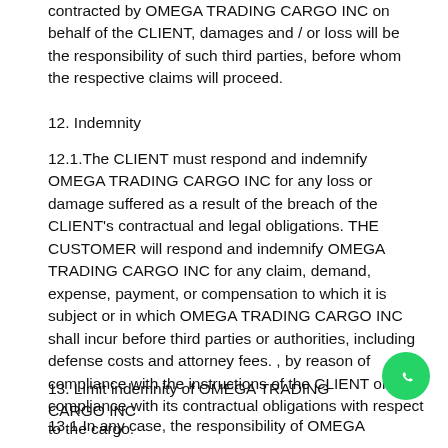contracted by OMEGA TRADING CARGO INC on behalf of the CLIENT, damages and / or loss will be the responsibility of such third parties, before whom the respective claims will proceed.
12. Indemnity
12.1.The CLIENT must respond and indemnify OMEGA TRADING CARGO INC for any loss or damage suffered as a result of the breach of the CLIENT's contractual and legal obligations. THE CUSTOMER will respond and indemnify OMEGA TRADING CARGO INC for any claim, demand, expense, payment, or compensation to which it is subject or in which OMEGA TRADING CARGO INC shall incur before third parties or authorities, including defense costs and attorney fees. , by reason of compliance with the instructions of the CLIENT or compliance with its contractual obligations with respect to the cargo.
13. Limit indemnity of OMEGA TRADING CARGO INC
13.1.In any case, the responsibility of OMEGA